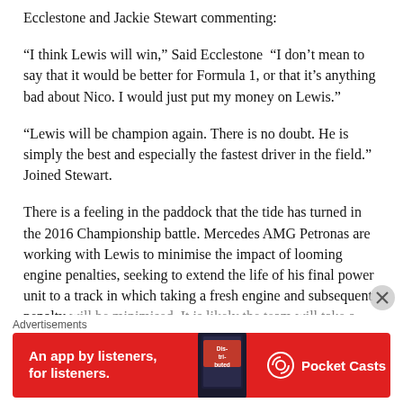Ecclestone and Jackie Stewart commenting:
“I think Lewis will win,” Said Ecclestone “I don’t mean to say that it would be better for Formula 1, or that it’s anything bad about Nico. I would just put my money on Lewis.”
“Lewis will be champion again. There is no doubt. He is simply the best and especially the fastest driver in the field.” Joined Stewart.
There is a feeling in the paddock that the tide has turned in the 2016 Championship battle. Mercedes AMG Petronas are working with Lewis to minimise the impact of looming engine penalties, seeking to extend the life of his final power unit to a track in which taking a fresh engine and subsequent penalty will be minimised. It is likely the team will take a double
Advertisements
[Figure (other): Pocket Casts advertisement banner: red background with text 'An app by listeners, for listeners.' and Pocket Casts logo on the right, with a phone showing 'Distributed' app in the middle.]